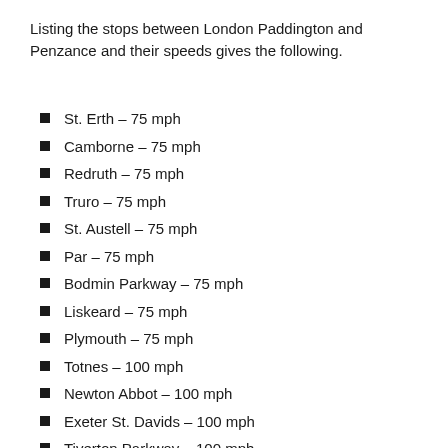Listing the stops between London Paddington and Penzance and their speeds gives the following.
St. Erth – 75 mph
Camborne – 75 mph
Redruth – 75 mph
Truro – 75 mph
St. Austell – 75 mph
Par – 75 mph
Bodmin Parkway – 75 mph
Liskeard – 75 mph
Plymouth – 75 mph
Totnes – 100 mph
Newton Abbot – 100 mph
Exeter St. Davids – 100 mph
Tiverton Parkway – 100 mph